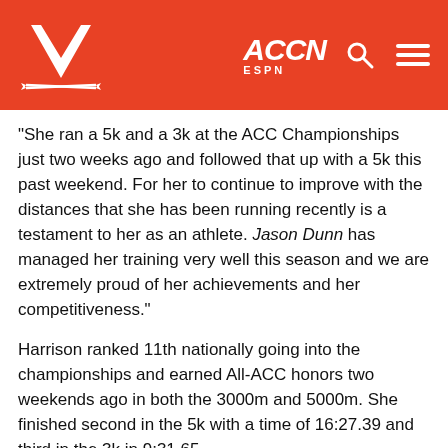University of Virginia / ACCN ESPN header
“She ran a 5k and a 3k at the ACC Championships just two weeks ago and followed that up with a 5k this past weekend. For her to continue to improve with the distances that she has been running recently is a testament to her as an athlete. Jason Dunn has managed her training very well this season and we are extremely proud of her achievements and her competitiveness.”
Harrison ranked 11th nationally going into the championships and earned All-ACC honors two weekends ago in both the 3000m and 5000m. She finished second in the 5k with a time of 16:27.39 and third in the 3k in 9:31.65.
Her 16:16.53 in the 3000m at last weekend’s Alex Wilson Invitational at Notre Dame marked a personal-best for the distance.